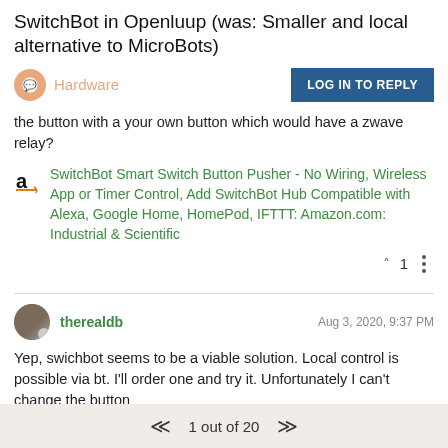SwitchBot in Openluup (was: Smaller and local alternative to MicroBots)
Hardware
LOG IN TO REPLY
the button with a your own button which would have a zwave relay?
SwitchBot Smart Switch Button Pusher - No Wiring, Wireless App or Timer Control, Add SwitchBot Hub Compatible with Alexa, Google Home, HomePod, IFTTT: Amazon.com: Industrial & Scientific
1
therealdb
Aug 3, 2020, 9:37 PM
Yep, swichbot seems to be a viable solution. Local control is possible via bt. I'll order one and try it. Unfortunately I can't change the button
1 out of 20